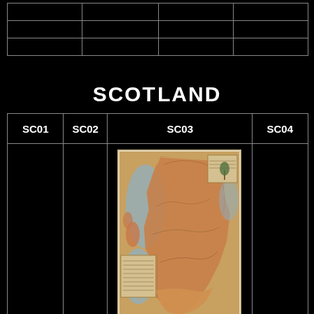|  |  |  |  |
|  |  |  |  |
|  |  |  |  |
SCOTLAND
| SC01 | SC02 | SC03 | SC04 |
| --- | --- | --- | --- |
|  |  | [map: Scotland 1725 Whiteholme of Dundee] |  |
|  |  |  |  |
Scotland 1725
Whiteholme of
Dundee